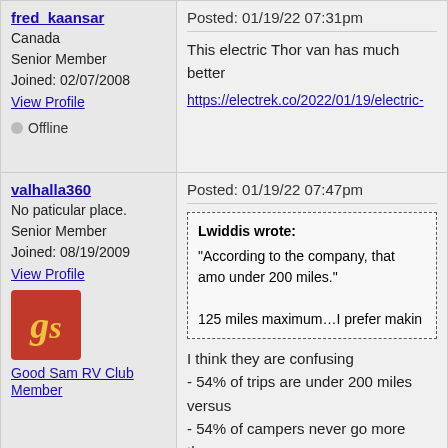fred_kaansar
Canada
Senior Member
Joined: 02/07/2008
View Profile
Offline
Posted: 01/19/22 07:31pm
This electric Thor van has much better
https://electrek.co/2022/01/19/electric-
valhalla360
No paticular place.
Senior Member
Joined: 08/19/2009
View Profile
[Figure (logo): Good Sam RV Club red badge with gold 'gs' letters]
Good Sam RV Club Member
Posted: 01/19/22 07:47pm
Lwiddis wrote:
"According to the company, that amo under 200 miles."

125 miles maximum…I prefer makin
I think they are confusing
- 54% of trips are under 200 miles
versus
- 54% of campers never go more than

I can certainly believe the first. Lots of

But most of those same people will tak